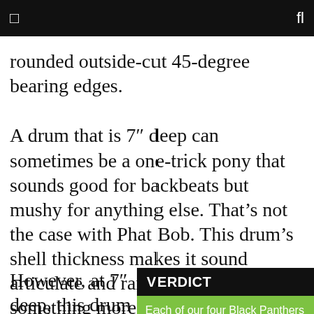□  fl
rounded outside-cut 45-degree bearing edges.
A drum that is 7″ deep can sometimes be a one-trick pony that sounds good for backbeats but mushy for anything else. That's not the case with Phat Bob. This drum's shell thickness makes it sound articulate and raises its pitch to something more akin to a 6.5″ or 6″ depth. However, at 7″ deep, this drum sounds
VERDICT
Each of our four Black Panthers included some surprise. The Nomad was warmer and more versatile than I would have